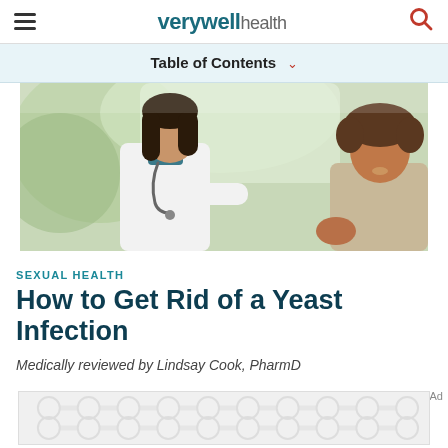verywell health
Table of Contents
[Figure (photo): A female doctor in a white coat with a stethoscope consulting with a female patient, photographed from the side in a medical office setting with a bright background]
SEXUAL HEALTH
How to Get Rid of a Yeast Infection
Medically reviewed by Lindsay Cook, PharmD